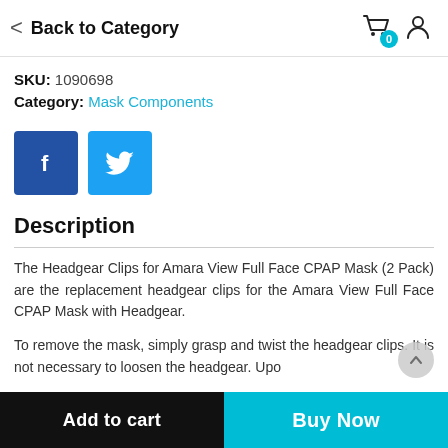Back to Category
SKU: 1090698
Category: Mask Components
[Figure (other): Facebook and Twitter social share buttons]
Description
The Headgear Clips for Amara View Full Face CPAP Mask (2 Pack) are the replacement headgear clips for the Amara View Full Face CPAP Mask with Headgear.
To remove the mask, simply grasp and twist the headgear clips. It is not necessary to loosen the headgear. Upo
Add to cart | Buy Now